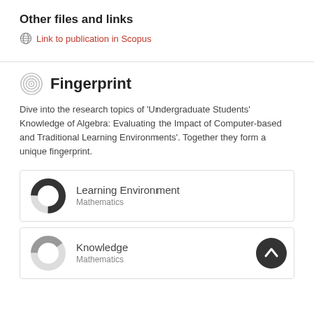Other files and links
Link to publication in Scopus
Fingerprint
Dive into the research topics of 'Undergraduate Students' Knowledge of Algebra: Evaluating the Impact of Computer-based and Traditional Learning Environments'. Together they form a unique fingerprint.
Learning Environment
Mathematics
Knowledge
Mathematics